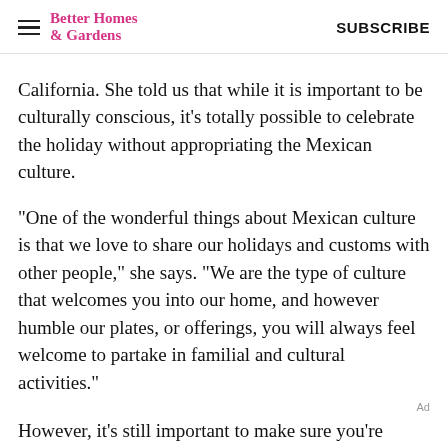Better Homes & Gardens | SUBSCRIBE
California. She told us that while it is important to be culturally conscious, it's totally possible to celebrate the holiday without appropriating the Mexican culture.
"One of the wonderful things about Mexican culture is that we love to share our holidays and customs with other people," she says. "We are the type of culture that welcomes you into our home, and however humble our plates, or offerings, you will always feel welcome to partake in familial and cultural activities."
However, it's still important to make sure you're participating in a respectful way. "As you choose